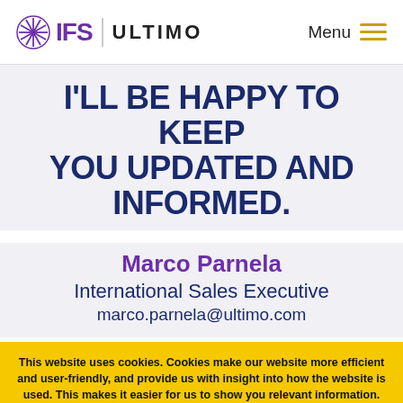IFS ULTIMO Menu
I'LL BE HAPPY TO KEEP YOU UPDATED AND INFORMED.
Marco Parnela
International Sales Executive
marco.parnela@ultimo.com
This website uses cookies. Cookies make our website more efficient and user-friendly, and provide us with insight into how the website is used. This makes it easier for us to show you relevant information. See our Cookie Statement and Privacy Statement for more information.
ACCEPT